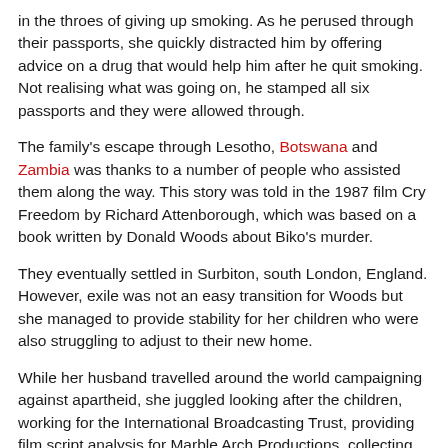in the throes of giving up smoking. As he perused through their passports, she quickly distracted him by offering advice on a drug that would help him after he quit smoking. Not realising what was going on, he stamped all six passports and they were allowed through.
The family's escape through Lesotho, Botswana and Zambia was thanks to a number of people who assisted them along the way. This story was told in the 1987 film Cry Freedom by Richard Attenborough, which was based on a book written by Donald Woods about Biko's murder.
They eventually settled in Surbiton, south London, England. However, exile was not an easy transition for Woods but she managed to provide stability for her children who were also struggling to adjust to their new home.
While her husband travelled around the world campaigning against apartheid, she juggled looking after the children, working for the International Broadcasting Trust, providing film script analysis for Marble Arch Productions, collecting thousands of books for the University of Fort Hare (where Nelson Mandela's had studied), as well as writing articles for the cause. She